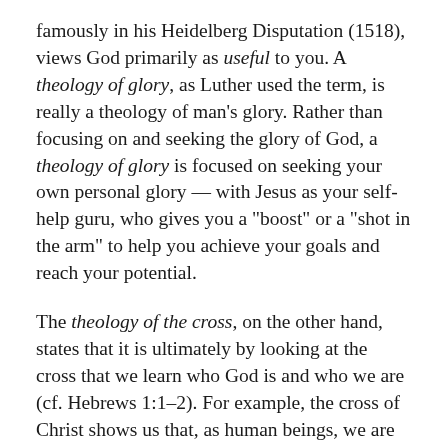famously in his Heidelberg Disputation (1518), views God primarily as useful to you. A theology of glory, as Luther used the term, is really a theology of man's glory. Rather than focusing on and seeking the glory of God, a theology of glory is focused on seeking your own personal glory — with Jesus as your self-help guru, who gives you a "boost" or a "shot in the arm" to help you achieve your goals and reach your potential.
The theology of the cross, on the other hand, states that it is ultimately by looking at the cross that we learn who God is and who we are (cf. Hebrews 1:1-2). For example, the cross of Christ shows us that, as human beings, we are completely unable to save ourselves — this is why the Jesus' death on the cross was necessary. Furthermore, it is through the cross that we come to known the depth of God's love for us.